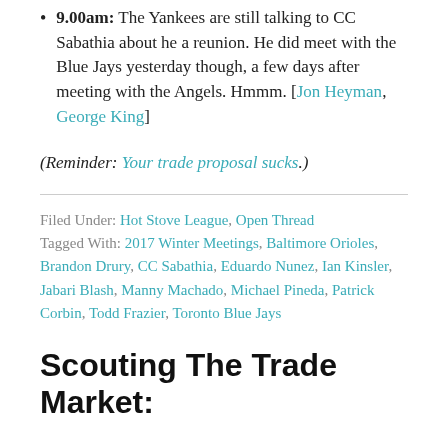9.00am: The Yankees are still talking to CC Sabathia about he a reunion. He did meet with the Blue Jays yesterday though, a few days after meeting with the Angels. Hmmm. [Jon Heyman, George King]
(Reminder: Your trade proposal sucks.)
Filed Under: Hot Stove League, Open Thread Tagged With: 2017 Winter Meetings, Baltimore Orioles, Brandon Drury, CC Sabathia, Eduardo Nunez, Ian Kinsler, Jabari Blash, Manny Machado, Michael Pineda, Patrick Corbin, Todd Frazier, Toronto Blue Jays
Scouting The Trade Market: